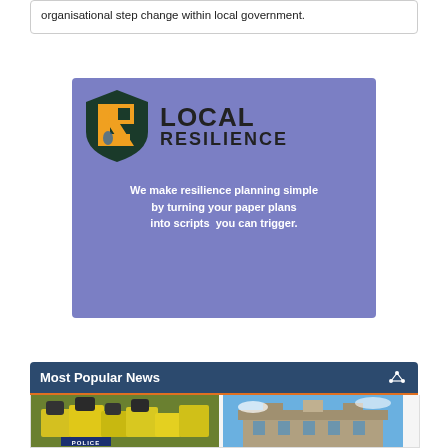organisational step change within local government.
[Figure (logo): Local Resilience logo and advertisement banner with purple background. Shield logo with LR letters in orange and teal. Text: LOCAL RESILIENCE. Tagline: We make resilience planning simple by turning your paper plans into scripts you can trigger.]
Most Popular News
[Figure (photo): Two photos side by side: police officers in yellow high-vis jackets, and a historic building against blue sky.]